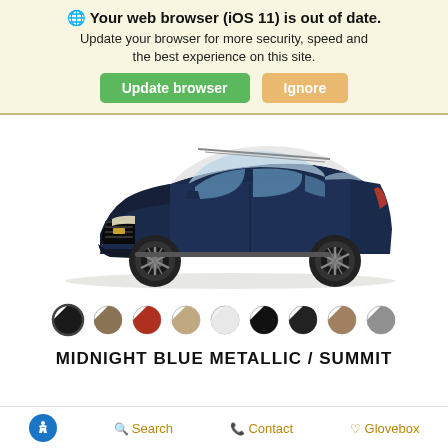🌐 Your web browser (iOS 11) is out of date. Update your browser for more security, speed and the best experience on this site.
Update browser | Ignore
[Figure (photo): Dark navy blue Chevrolet Trailblazer SUV shown in 3/4 front view on white background]
[Figure (other): Color swatch selector showing 9 color options, first one (black/dark) is selected with a ring]
MIDNIGHT BLUE METALLIC / SUMMIT
Accessibility | Search | Contact | Glovebox